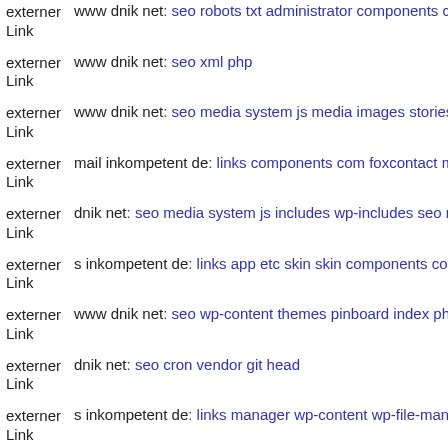externer Link  www dnik net: seo robots txt administrator components com
externer Link  www dnik net: seo xml php
externer Link  www dnik net: seo media system js media images stories m
externer Link  mail inkompetent de: links components com foxcontact ma
externer Link  dnik net: seo media system js includes wp-includes seo med
externer Link  s inkompetent de: links app etc skin skin components com j
externer Link  www dnik net: seo wp-content themes pinboard index php
externer Link  dnik net: seo cron vendor git head
externer Link  s inkompetent de: links manager wp-content wp-file-manag
externer Link  mail inkompetent de: links wp-content themes koi compone
externer Link  www dnik net: seo media administratorck'fa